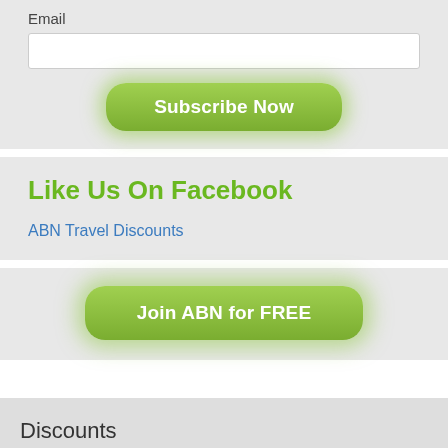Email
Subscribe Now
Like Us On Facebook
ABN Travel Discounts
Join ABN for FREE
Discounts